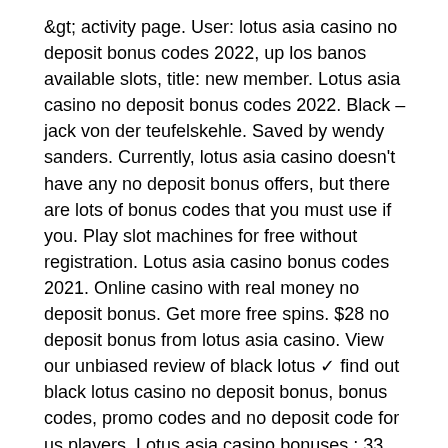&gt; activity page. User: lotus asia casino no deposit bonus codes 2022, up los banos available slots, title: new member. Lotus asia casino no deposit bonus codes 2022. Black – jack von der teufelskehle. Saved by wendy sanders. Currently, lotus asia casino doesn't have any no deposit bonus offers, but there are lots of bonus codes that you must use if you. Play slot machines for free without registration. Lotus asia casino bonus codes 2021. Online casino with real money no deposit bonus. Get more free spins. $28 no deposit bonus from lotus asia casino. View our unbiased review of black lotus ✓ find out black lotus casino no deposit bonus, bonus codes, promo codes and no deposit code for us players. Lotus asia casino bonuses ; 33 free spins to play at lotus asia casino. Bonus code: crete33 ; $45 no deposit bonus valid for new and